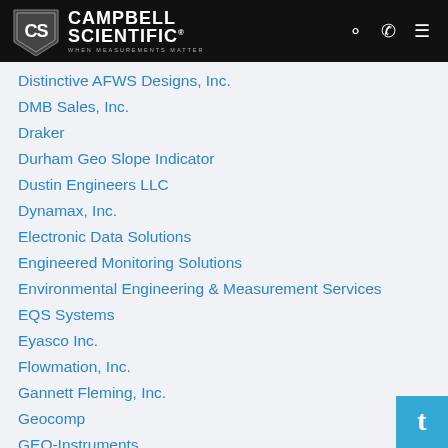Campbell Scientific - When Measurements Matter
Distinctive AFWS Designs, Inc.
DMB Sales, Inc.
Draker
Durham Geo Slope Indicator
Dustin Engineers LLC
Dynamax, Inc.
Electronic Data Solutions
Engineered Monitoring Solutions
Environmental Engineering & Measurement Services
EQS Systems
Eyasco Inc.
Flowmation, Inc.
Gannett Fleming, Inc.
Geocomp
GEO-Instruments
Geokon
Geonor, Inc.